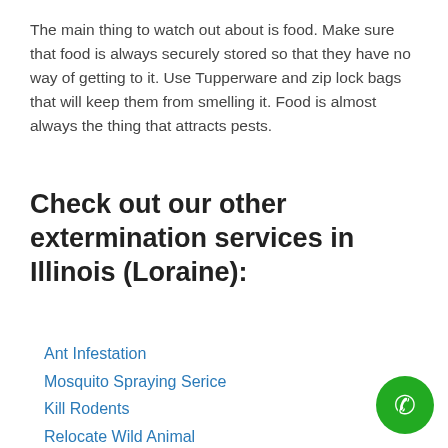The main thing to watch out about is food. Make sure that food is always securely stored so that they have no way of getting to it. Use Tupperware and zip lock bags that will keep them from smelling it. Food is almost always the thing that attracts pests.
Check out our other extermination services in Illinois (Loraine):
Ant Infestation
Mosquito Spraying Serice
Kill Rodents
Relocate Wild Animal
Black Fly Fumigation